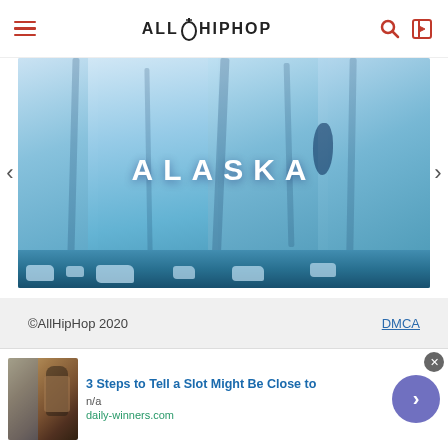AllHipHop
[Figure (photo): Glacier/ice wall image with text 'ALASKA' overlaid in large white letters, part of a travel advertisement carousel]
DISCOVER AMAZING TRAVEL
SIDESTAGE.COM
©AllHipHop 2020   DMCA
[Figure (photo): Advertisement banner: thumbnail of person near slot machines, title '3 Steps to Tell a Slot Might Be Close to', source: daily-winners.com]